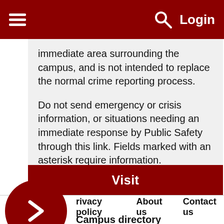Login
immediate area surrounding the campus, and is not intended to replace the normal crime reporting process.
Do not send emergency or crisis information, or situations needing an immediate response by Public Safety through this link. Fields marked with an asterisk require information. Confidential reports of crime are accepted.
Visit
Privacy policy   About us   Contact us   Campus directory